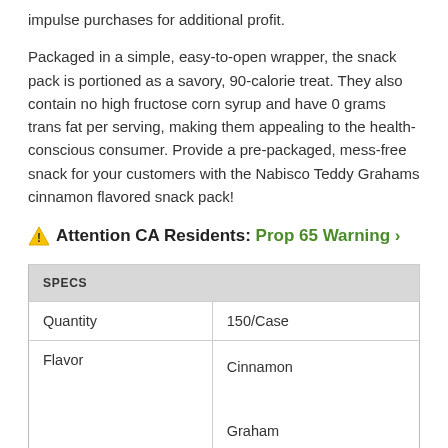impulse purchases for additional profit.
Packaged in a simple, easy-to-open wrapper, the snack pack is portioned as a savory, 90-calorie treat. They also contain no high fructose corn syrup and have 0 grams trans fat per serving, making them appealing to the health-conscious consumer. Provide a pre-packaged, mess-free snack for your customers with the Nabisco Teddy Grahams cinnamon flavored snack pack!
⚠ Attention CA Residents: Prop 65 Warning ›
| SPECS |  |
| --- | --- |
| Quantity | 150/Case |
| Flavor | Cinnamon
Graham |
| Made in America | Yes |
| Package Size | 0.75 oz. |
| Type | Cookies |